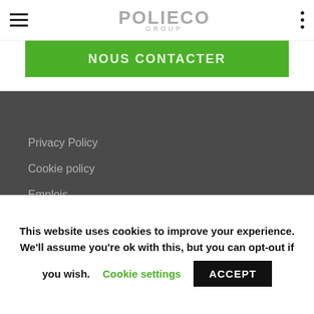[Figure (logo): Polieco Group logo with hamburger menu icon on left and three-dot menu on right in a white navigation bar]
[Figure (other): Green banner button with white uppercase text 'NOUS CONTACTER']
Privacy Policy
Cookie policy
Emplois
SITEMAP
This website uses cookies to improve your experience. We'll assume you're ok with this, but you can opt-out if you wish. Cookie settings ACCEPT